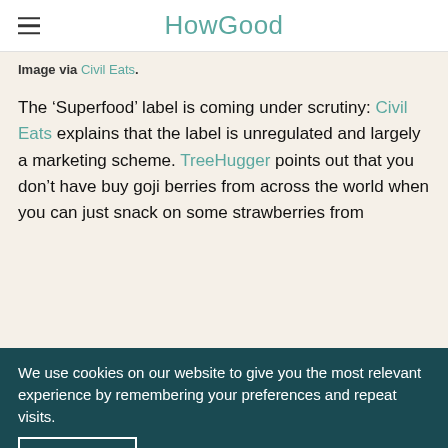HowGood
Image via Civil Eats.
The ‘Superfood’ label is coming under scrutiny: Civil Eats explains that the label is unregulated and largely a marketing scheme. TreeHugger points out that you don’t have buy goji berries from across the world when you can just snack on some strawberries from
We use cookies on our website to give you the most relevant experience by remembering your preferences and repeat visits.